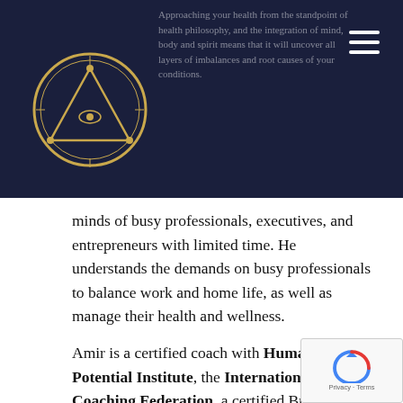Header navigation bar with logo and hamburger menu
[Figure (logo): Circular gold emblem with triangle and eye symbol on dark navy background]
...minds of busy professionals, executives, and entrepreneurs with limited time. He understands the demands on busy professionals to balance work and home life, as well as manage their health and wellness.
Amir is a certified coach with Human Potential Institute, the International Coaching Federation, a certified Business Coach, and a PMI Project Management Professional. Attending several international events, seminars, and workshops in the field of nutrition, health, medicine, Project Management, and biohacking. Amir has accumulated a wealth of knowledge, techniques, technologies, equipment, to heal, improve, enhance the mind and body of his clients.